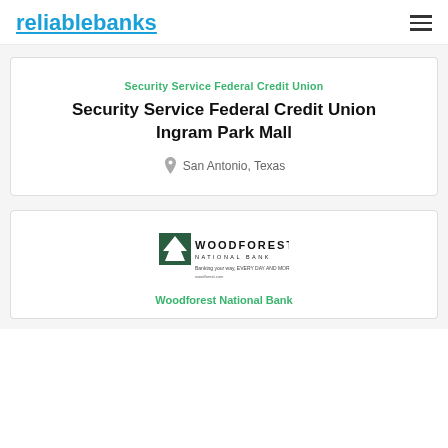reliablebanks
Security Service Federal Credit Union Ingram Park Mall
Security Service Federal Credit Union
San Antonio, Texas
[Figure (logo): Woodforest National Bank logo with tree icon and tagline]
Woodforest National Bank